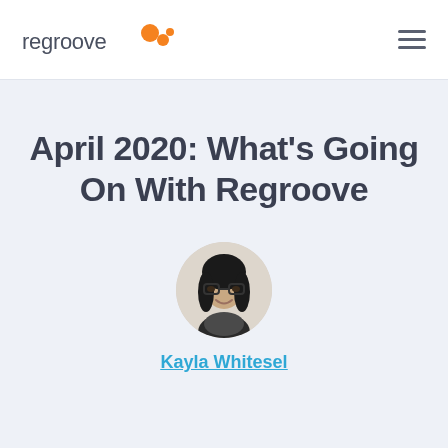regroove
April 2020: What’s Going On With Regroove
[Figure (photo): Circular headshot photo of Kayla Whitesel, a woman with dark hair and glasses, wearing a dark blazer, smiling.]
Kayla Whitesel